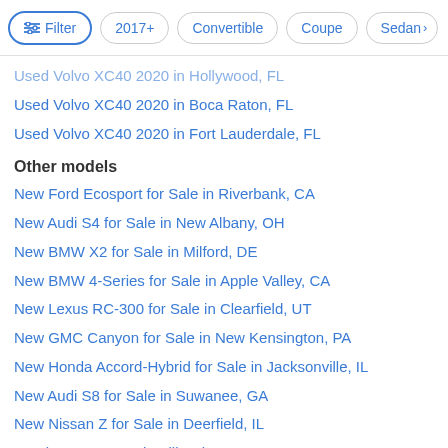Filter | 2017+ | Convertible | Coupe | Sedan >
Used Volvo XC40 2020 in Hollywood, FL
Used Volvo XC40 2020 in Boca Raton, FL
Used Volvo XC40 2020 in Fort Lauderdale, FL
Other models
New Ford Ecosport for Sale in Riverbank, CA
New Audi S4 for Sale in New Albany, OH
New BMW X2 for Sale in Milford, DE
New BMW 4-Series for Sale in Apple Valley, CA
New Lexus RC-300 for Sale in Clearfield, UT
New GMC Canyon for Sale in New Kensington, PA
New Honda Accord-Hybrid for Sale in Jacksonville, IL
New Audi S8 for Sale in Suwanee, GA
New Nissan Z for Sale in Deerfield, IL
Used Toyota C-HR in Villa Rica, GA
Used Infiniti G35 in Emmaus, PA
New Nissan Frontier for Sale in Summerville, SC